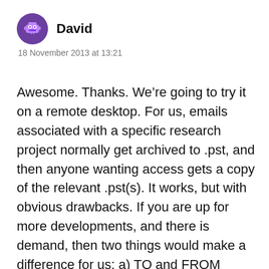David — 18 November 2013 at 13:21
Awesome. Thanks. We’re going to try it on a remote desktop. For us, emails associated with a specific research project normally get archived to .pst, and then anyone wanting access gets a copy of the relevant .pst(s). It works, but with obvious drawbacks. If you are up for more developments, and there is demand, then two things would make a difference for us: a) TO and FROM columns for sorting, b) the ability to save attachments with default original file names. Although we generally remove attachments and put them in